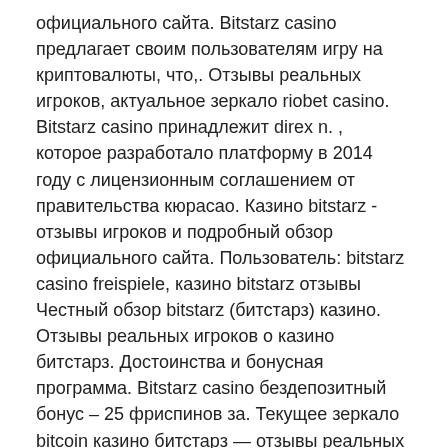официального сайта. Bitstarz casino предлагает своим пользователям игру на криптовалюты, что,. Отзывы реальных игроков, актуальное зеркало riobet casino. Bitstarz casino принадлежит direx n. , которое разработало платформу в 2014 году с лицензионным соглашением от правительства кюрасао. Казино bitstarz - отзывы игроков и подробный обзор официального сайта. Пользователь: bitstarz casino freispiele, казино bitstarz отзывы Честный обзор bitstarz (битстарз) казино. Отзывы реальных игроков о казино битстарз. Достоинства и бонусная программа. Bitstarz casino бездепозитный бонус – 25 фриспинов за. Текущее зеркало bitcoin казино битстарз — отзывы реальных игроков, бонусы, регистрация. Bit starz как игровая площадка начала деятельность в 2013 году. Казино принадлежит крупной компании, которая